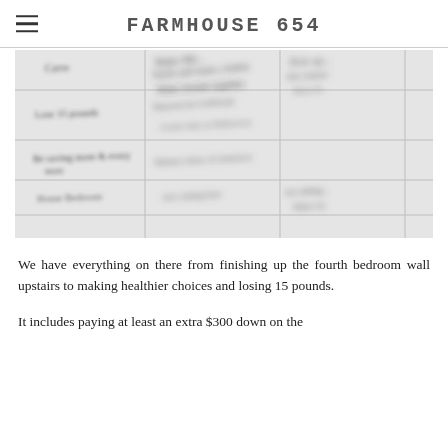FARMHOUSE 654
[Figure (photo): A blurry overhead photo of a handwritten or printed checklist/goal list on white paper, showing a grid with multiple categories and text entries, slightly out of focus.]
We have everything on there from finishing up the fourth bedroom wall upstairs to making healthier choices and losing 15 pounds.
It includes paying at least an extra $300 down on the